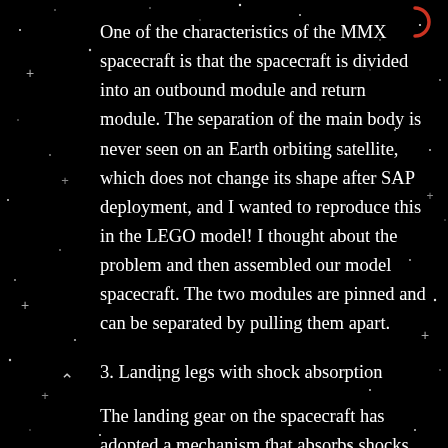One of the characteristics of the MMX spacecraft is that the spacecraft is divided into an outbound module and return module. The separation of the main body is never seen on an Earth orbiting satellite, which does not change its shape after SAP deployment, and I wanted to reproduce this in the LEGO model! I thought about the problem and then assembled our model spacecraft. The two modules are pinned and can be separated by pulling them apart.
3. Landing legs with shock absorption
The landing gear on the spacecraft has adopted a mechanism that absorbs shocks. In the 3D model seen on the website, the